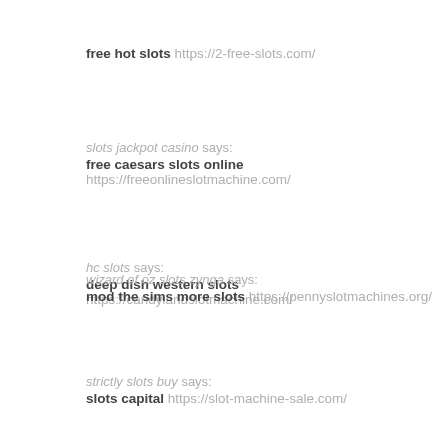free hot slots https://2-free-slots.com/
slots jackpot casino says:
free caesars slots online https://freeonlineslotmachine.com/
hc slots says:
deep dish western slots https://candylandslotmachine.com/
wizard of oz slots zynga says:
mod the sims more slots https://pennyslotmachines.org/
strictly slots buy says:
slots capital https://slot-machine-sale.com/